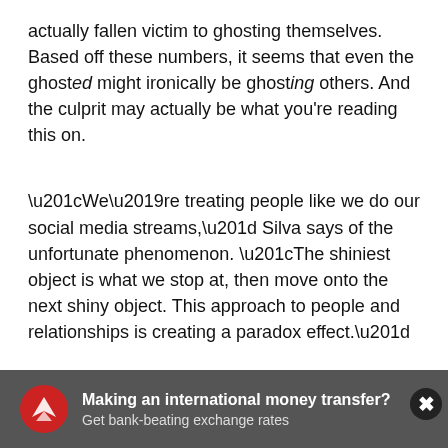actually fallen victim to ghosting themselves. Based off these numbers, it seems that even the ghosted might ironically be ghosting others. And the culprit may actually be what you're reading this on.
“We’re treating people like we do our social media streams,” Silva says of the unfortunate phenomenon. “The shiniest object is what we stop at, then move onto the next shiny object. This approach to people and relationships is creating a paradox effect.”
[Figure (other): Advertisement banner: Red circular logo with white eagle/bird icon. Bold text reads 'Making an international money transfer? Get bank-beating exchange rates'. Gray background bar at bottom of page with a small close button (X) in top right corner.]